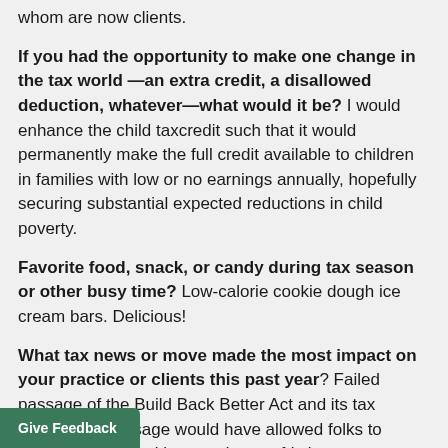whom are now clients.
If you had the opportunity to make one change in the tax world —an extra credit, a disallowed deduction, whatever—what would it be? I would enhance the child taxcredit such that it would permanently make the full credit available to children in families with low or no earnings annually, hopefully securing substantial expected reductions in child poverty.
Favorite food, snack, or candy during tax season or other busy time? Low-calorie cookie dough ice cream bars. Delicious!
What tax news or move made the most impact on your practice or clients this past year? Failed passage of the Build Back Better Act and its tax provisions. Passage would have allowed folks to effectuate deals without undue tax friction.